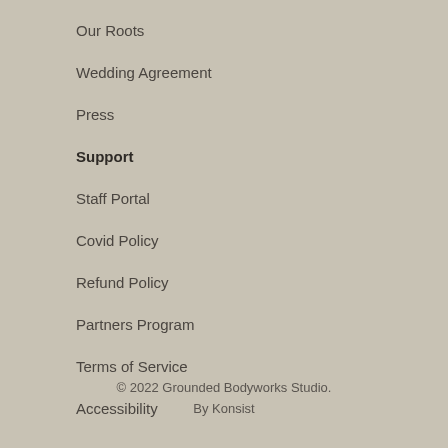Our Roots
Wedding Agreement
Press
Support
Staff Portal
Covid Policy
Refund Policy
Partners Program
Terms of Service
Accessibility
© 2022 Grounded Bodyworks Studio.
By Konsist